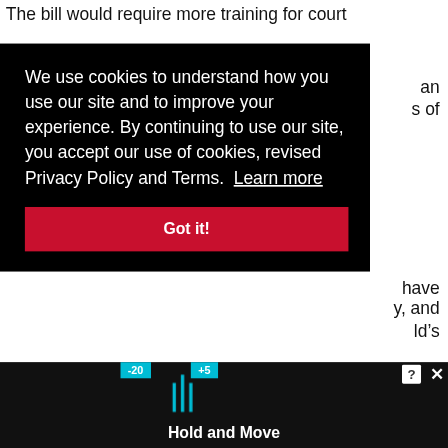The bill would require more training for court
an
s of
We use cookies to understand how you use our site and to improve your experience. By continuing to use our site, you accept our use of cookies, revised Privacy Policy and Terms.  Learn more
Got it!
have
y, and
ld’s
life,” Davis says. “There’s got to be a better way of looking at cases like this. A lot of women are getting discriminated against, because they don’t have the money or resources to fight in court.”
[Figure (screenshot): Advertisement banner at bottom showing a basketball scoreboard display with cyan figures and text 'Hold and Move', with close (X) and help (?) buttons]